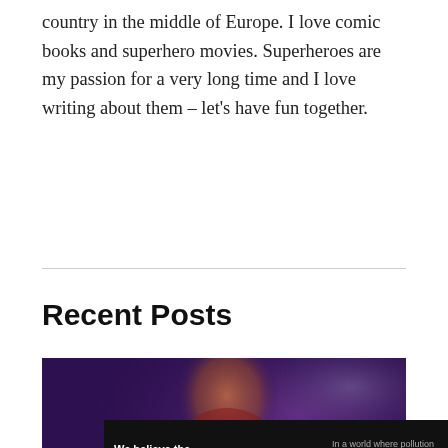country in the middle of Europe. I love comic books and superhero movies. Superheroes are my passion for a very long time and I love writing about them – let's have fun together.
Recent Posts
[Figure (photo): Movie promotional banner showing a man with long blonde hair in a red outfit against a dark purple background with text 'THOR MOVIES' displayed prominently at the bottom.]
[Figure (other): Advertisement banner: 'We believe the global pollution crisis can be solved.' with Pure Earth logo and 'JOIN US.' call to action.]